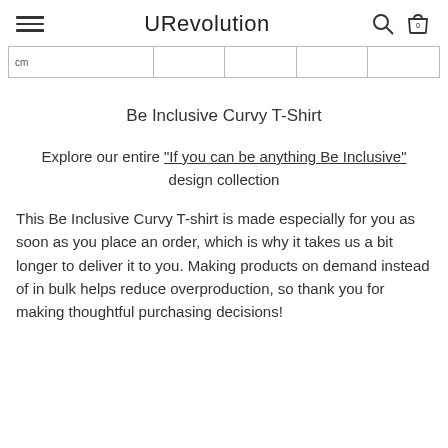URevolution
| cm |  |  |  |  |
| --- | --- | --- | --- | --- |
Be Inclusive Curvy T-Shirt
Explore our entire "If you can be anything Be Inclusive" design collection
This Be Inclusive Curvy T-shirt is made especially for you as soon as you place an order, which is why it takes us a bit longer to deliver it to you. Making products on demand instead of in bulk helps reduce overproduction, so thank you for making thoughtful purchasing decisions!